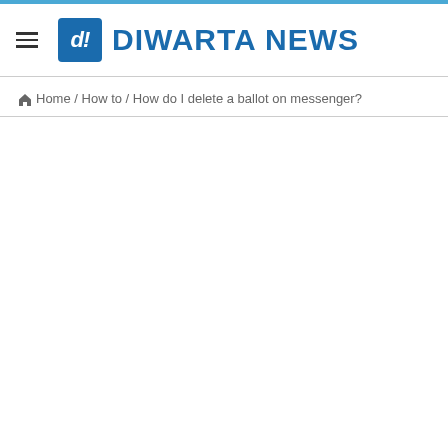DIWARTA NEWS
Home / How to / How do I delete a ballot on messenger?